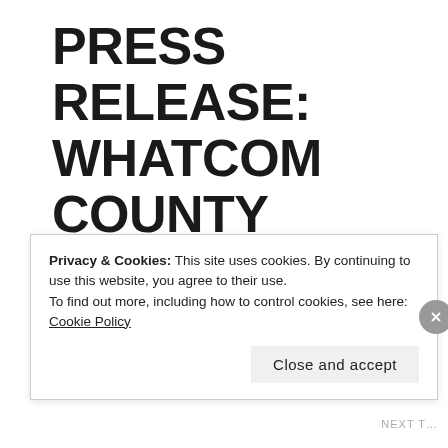PRESS RELEASE: WHATCOM COUNTY CITIZEN CALLS FOR HOUSE COMMITTEE ON ETHICS INVESTIGATION INTO CONGRESSMAN RYAN ZINKE
Privacy & Cookies: This site uses cookies. By continuing to use this website, you agree to their use.
To find out more, including how to control cookies, see here: Cookie Policy

Close and accept